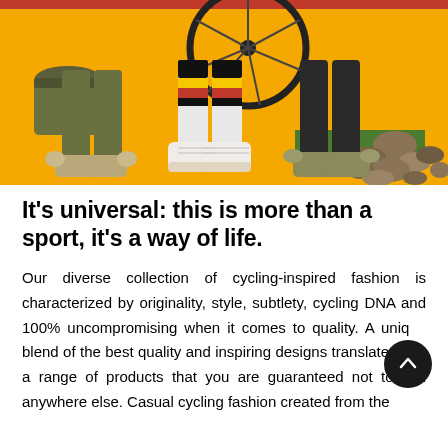[Figure (photo): Photo of people's legs and feet wearing cycling-inspired sneakers and colorful socks (black, yellow, red striped socks on one person; white shoes on another with red/yellow/black striped socks) on a bright yellow background with rocks and green turf visible, a bicycle wheel in the background, and a red bar at the top.]
It's universal: this is more than a sport, it's a way of life.
Our diverse collection of cycling-inspired fashion is characterized by originality, style, subtlety, cycling DNA and 100% uncompromising when it comes to quality. A unique blend of the best quality and inspiring designs translated into a range of products that you are guaranteed not to find anywhere else. Casual cycling fashion created from the